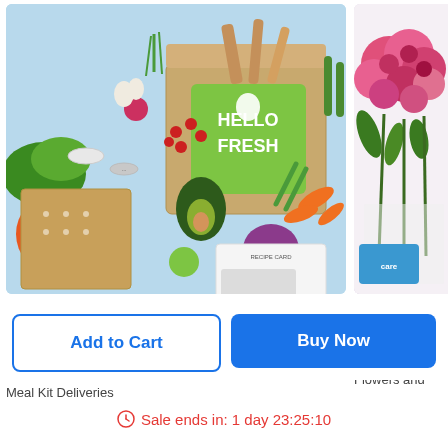[Figure (photo): HelloFresh meal kit box surrounded by fresh vegetables and ingredients on a blue background]
HelloFresh Meal Kit Deliveries Deals
4.1 ★★★★☆ 22699 Ratings
$69.93 $25 Meal Kit Deliveries
[Figure (photo): Roses and flowers product image, partially visible]
Roses an...
4.7 ★★★★
$35 $10... Flowers and...
Add to Cart
Buy Now
Sale ends in: 1 day 23:25:10